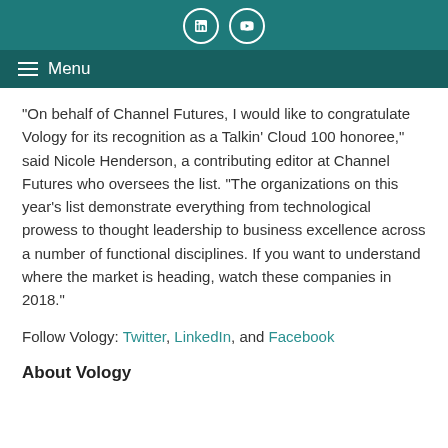Menu
“On behalf of Channel Futures, I would like to congratulate Vology for its recognition as a Talkin’ Cloud 100 honoree,” said Nicole Henderson, a contributing editor at Channel Futures who oversees the list. “The organizations on this year’s list demonstrate everything from technological prowess to thought leadership to business excellence across a number of functional disciplines. If you want to understand where the market is heading, watch these companies in 2018.”
Follow Vology: Twitter, LinkedIn, and Facebook
About Vology